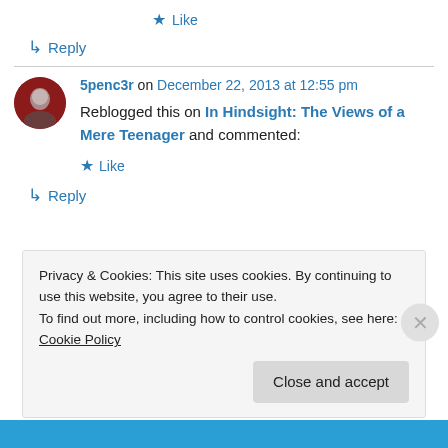★ Like
↳ Reply
5penc3r on December 22, 2013 at 12:55 pm
Reblogged this on In Hindsight: The Views of a Mere Teenager and commented:
★ Like
↳ Reply
Privacy & Cookies: This site uses cookies. By continuing to use this website, you agree to their use.
To find out more, including how to control cookies, see here: Cookie Policy
Close and accept